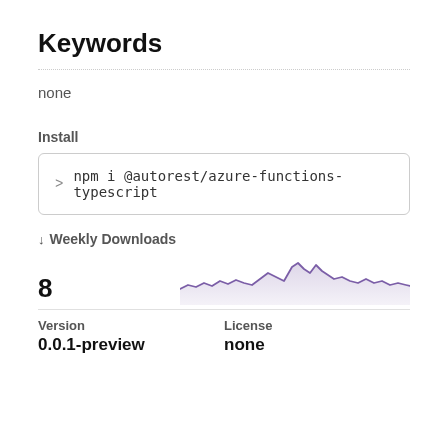Keywords
none
Install
> npm i @autorest/azure-functions-typescript
↓ Weekly Downloads
8
[Figure (area-chart): Area chart showing weekly downloads over time, with a purple line and light purple fill. Values fluctuate around 8 with some peaks.]
Version
0.0.1-preview
License
none